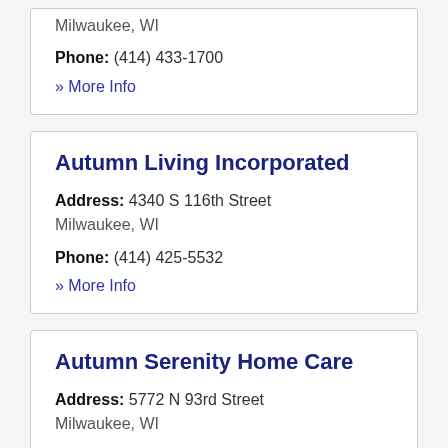Milwaukee, WI
Phone: (414) 433-1700
» More Info
Autumn Living Incorporated
Address: 4340 S 116th Street
Milwaukee, WI
Phone: (414) 425-5532
» More Info
Autumn Serenity Home Care
Address: 5772 N 93rd Street
Milwaukee, WI
Phone: (414) 616-2090